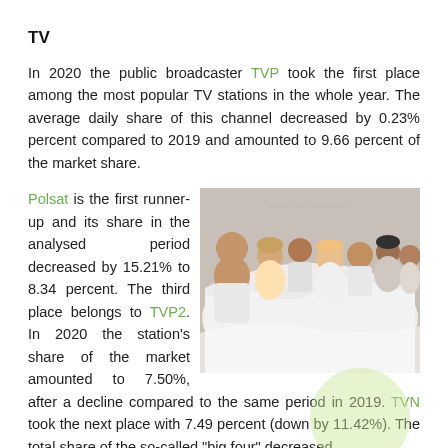TV
In 2020 the public broadcaster TVP took the first place among the most popular TV stations in the whole year. The average daily share of this channel decreased by 0.23% percent compared to 2019 and amounted to 9.66 percent of the market share.
Polsat is the first runner-up and its share in the analysed period decreased by 15.21% to 8.34 percent. The third place belongs to TVP2. In 2020 the station's share of the market amounted to 7.50%, after a decline compared to the same period in 2019. TVN took the next place with 7.49 percent (down by 11.42%). The total share of the so-called "big four" decreased
[Figure (photo): Group of people lying together wrapped in white sheets/towels, promotional photo for a TV show]